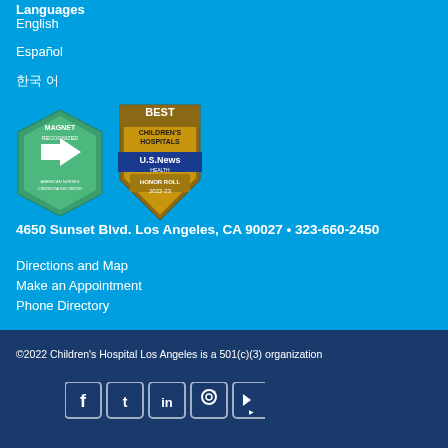Languages
English
Español
한국어
[Figure (logo): Magnet Recognized - American Nurses Credentialing Center badge (green)]
[Figure (logo): Best Children's Hospitals - US News Honor Roll 2022-23 badge (gold and blue shield)]
4650 Sunset Blvd. Los Angeles, CA 90027 • 323-660-2450
Directions and Map
Make an Appointment
Phone Directory
©2022 Children's Hospital Los Angeles is a 501(c)(3) organization
[Figure (infographic): Social media icons: Facebook, Twitter, LinkedIn, Instagram, YouTube]